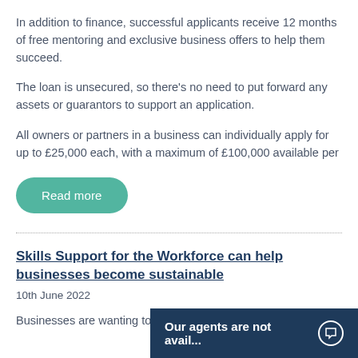In addition to finance, successful applicants receive 12 months of free mentoring and exclusive business offers to help them succeed.
The loan is unsecured, so there's no need to put forward any assets or guarantors to support an application.
All owners or partners in a business can individually apply for up to £25,000 each, with a maximum of £100,000 available per
Read more
Skills Support for the Workforce can help businesses become sustainable
10th June 2022
Businesses are wanting to
Our agents are not avail...